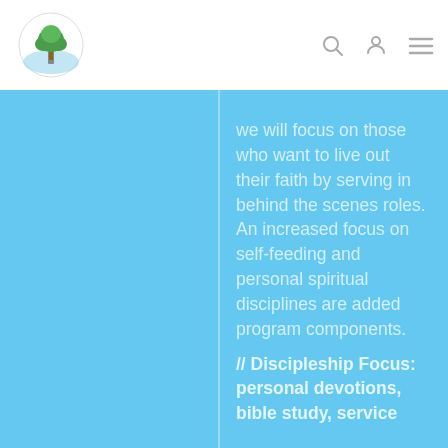[Figure (logo): Church logo — tree with cross, circular badge]
we will focus on those who want to live out their faith by serving in behind the scenes roles. An increased focus on self-feeding and personal spiritual disciplines are added program components.
// Discipleship Focus: personal devotions, bible study, service